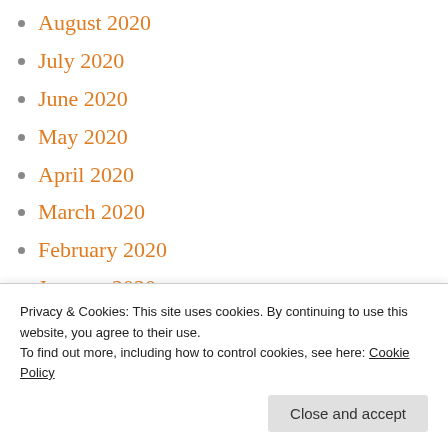August 2020
July 2020
June 2020
May 2020
April 2020
March 2020
February 2020
January 2020
December 2019
November 2019
October 2019
Privacy & Cookies: This site uses cookies. By continuing to use this website, you agree to their use.
To find out more, including how to control cookies, see here: Cookie Policy
July 2019